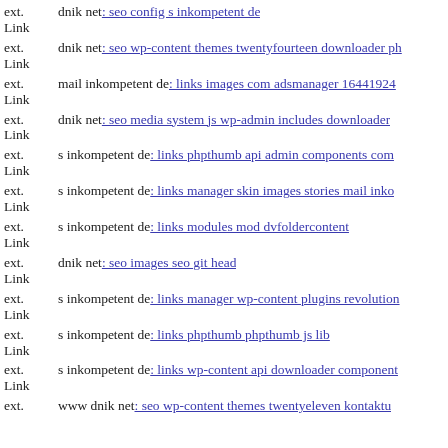ext. Link dnik net: seo config s inkompetent de
ext. Link dnik net: seo wp-content themes twentyfourteen downloader ph
ext. Link mail inkompetent de: links images com adsmanager 16441924
ext. Link dnik net: seo media system js wp-admin includes downloader
ext. Link s inkompetent de: links phpthumb api admin components com
ext. Link s inkompetent de: links manager skin images stories mail inko
ext. Link s inkompetent de: links modules mod dvfoldercontent
ext. Link dnik net: seo images seo git head
ext. Link s inkompetent de: links manager wp-content plugins revolution
ext. Link s inkompetent de: links phpthumb phpthumb js lib
ext. Link s inkompetent de: links wp-content api downloader component
ext. www dnik net: seo wp-content themes twentyeleven kontaktu